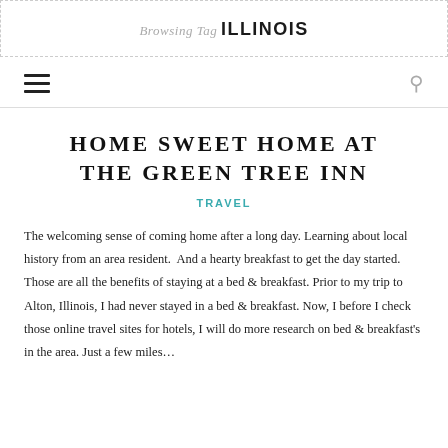Browsing Tag ILLINOIS
HOME SWEET HOME AT THE GREEN TREE INN
TRAVEL
The welcoming sense of coming home after a long day. Learning about local history from an area resident.  And a hearty breakfast to get the day started. Those are all the benefits of staying at a bed & breakfast. Prior to my trip to Alton, Illinois, I had never stayed in a bed & breakfast. Now, I before I check those online travel sites for hotels, I will do more research on bed & breakfast's in the area. Just a few miles…